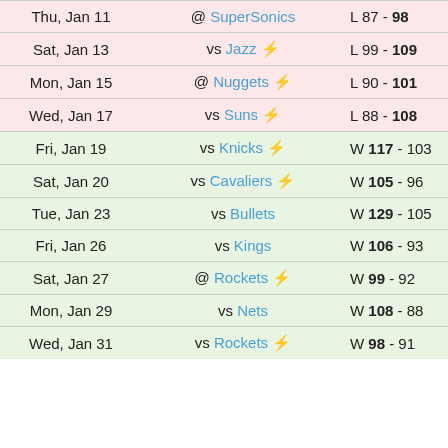| Date | Opponent | Result | Note |
| --- | --- | --- | --- |
| Thu, Jan 11 | @ SuperSonics | L 87 - 98 |  |
| Sat, Jan 13 | vs Jazz ⚡ | L 99 - 109 |  |
| Mon, Jan 15 | @ Nuggets ⚡ | L 90 - 101 |  |
| Wed, Jan 17 | vs Suns ⚡ | L 88 - 108 |  |
| Fri, Jan 19 | vs Knicks ⚡ | W 117 - 103 |  |
| Sat, Jan 20 | vs Cavaliers ⚡ | W 105 - 96 | OT |
| Tue, Jan 23 | vs Bullets | W 129 - 105 |  |
| Fri, Jan 26 | vs Kings | W 106 - 93 |  |
| Sat, Jan 27 | @ Rockets ⚡ | W 99 - 92 |  |
| Mon, Jan 29 | vs Nets | W 108 - 88 |  |
| Wed, Jan 31 | vs Rockets ⚡ | W 98 - 91 |  |